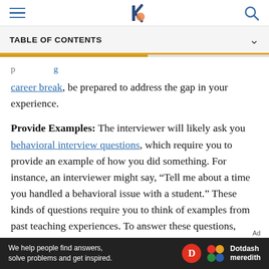TABLE OF CONTENTS
career break, be prepared to address the gap in your experience.
Provide Examples: The interviewer will likely ask you behavioral interview questions, which require you to provide an example of how you did something. For instance, an interviewer might say, “Tell me about a time you handled a behavioral issue with a student.” These kinds of questions require you to think of examples from past teaching experiences. To answer these questions, explain the situation and what you did to either solve a problem or achieve success.
We help people find answers, solve problems and get inspired. Dotdash meredith